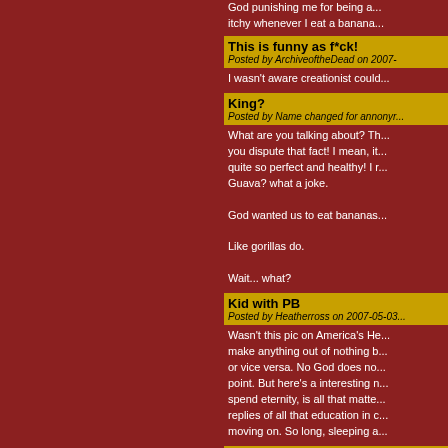God punishing me for being a... itchy whenever I eat a banana...
This is funny as f*ck!
Posted by ArchiveoftheDead on 2007-
I wasn't aware creationist could...
King?
Posted by Name changed for annonyr...
What are you talking about? Th... you dispute that fact! I mean, it... quite so perfect and healthy! I r... Guava? what a joke.

God wanted us to eat bananas...

Like gorillas do.

Wait... what?
Kid with PB
Posted by Heatherross on 2007-05-03
Wasn't this pic on America's He... make anything out of nothing b... or vice versa. No God does no... point. But here's a interesting n... spend eternity, is all that matte... replies of all that education in c... moving on. So long, sleeping a...
PEANUT BUTTA JELLY TIM...